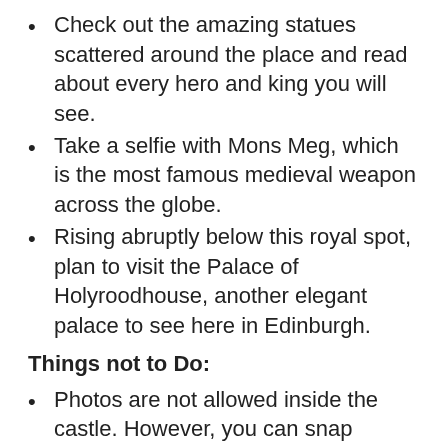Check out the amazing statues scattered around the place and read about every hero and king you will see.
Take a selfie with Mons Meg, which is the most famous medieval weapon across the globe.
Rising abruptly below this royal spot, plan to visit the Palace of Holyroodhouse, another elegant palace to see here in Edinburgh.
Things not to Do:
Photos are not allowed inside the castle. However, you can snap pictures from the rooftop or at the outdoor hall.
Don't just visit Edinburgh Castle, instead, you can hit the Parliament, attend a session or explore Debating Chambers' public gallery. All